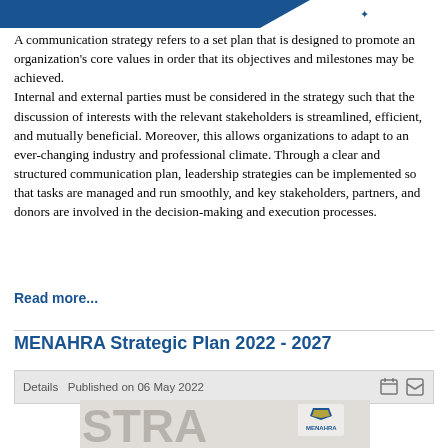[Figure (illustration): Top decorative banner with blue geometric shape and partial logo]
A communication strategy refers to a set plan that is designed to promote an organization's core values in order that its objectives and milestones may be achieved.
Internal and external parties must be considered in the strategy such that the discussion of interests with the relevant stakeholders is streamlined, efficient, and mutually beneficial. Moreover, this allows organizations to adapt to an ever-changing industry and professional climate. Through a clear and structured communication plan, leadership strategies can be implemented so that tasks are managed and run smoothly, and key stakeholders, partners, and donors are involved in the decision-making and execution processes.
Read more...
MENAHRA Strategic Plan 2022 - 2027
Details  Published on 06 May 2022
[Figure (photo): Partial image of a document or book cover showing 'STRA' text and MENAHRA logo with a blue and yellow star/person icon]